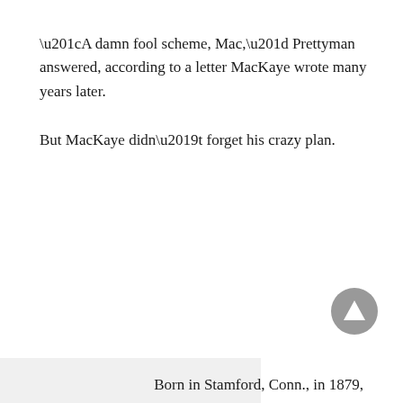“A damn fool scheme, Mac,” Prettyman answered, according to a letter MacKaye wrote many years later.
But MacKaye didn’t forget his crazy plan.
Born in Stamford, Conn., in 1879,